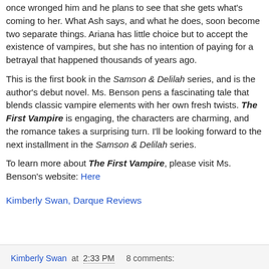once wronged him and he plans to see that she gets what's coming to her. What Ash says, and what he does, soon become two separate things. Ariana has little choice but to accept the existence of vampires, but she has no intention of paying for a betrayal that happened thousands of years ago.
This is the first book in the Samson & Delilah series, and is the author's debut novel. Ms. Benson pens a fascinating tale that blends classic vampire elements with her own fresh twists. The First Vampire is engaging, the characters are charming, and the romance takes a surprising turn. I'll be looking forward to the next installment in the Samson & Delilah series.
To learn more about The First Vampire, please visit Ms. Benson's website: Here
Kimberly Swan, Darque Reviews
Kimberly Swan at 2:33 PM   8 comments: